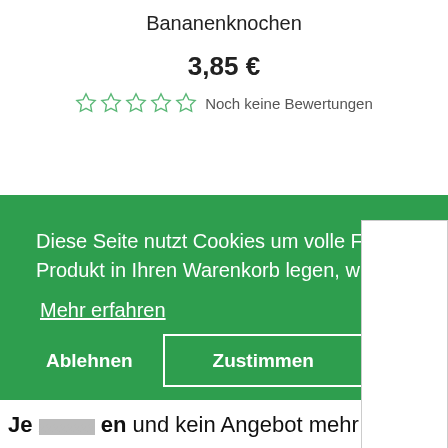Bananenknochen
3,85 €
Noch keine Bewertungen
Diese Seite nutzt Cookies um volle Funktionalität zu gewährleisten. Sollten Sie ein Produkt in Ihren Warenkorb legen, wird ein nicht personenbezogener Cookie erstellt.
Mehr erfahren
Ablehnen
Zustimmen
Je … en und kein Angebot mehr